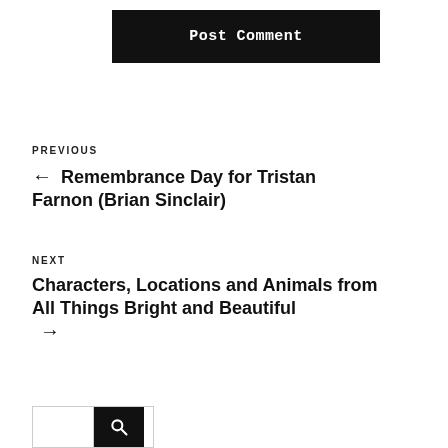Post Comment
PREVIOUS
← Remembrance Day for Tristan Farnon (Brian Sinclair)
NEXT
Characters, Locations and Animals from All Things Bright and Beautiful →